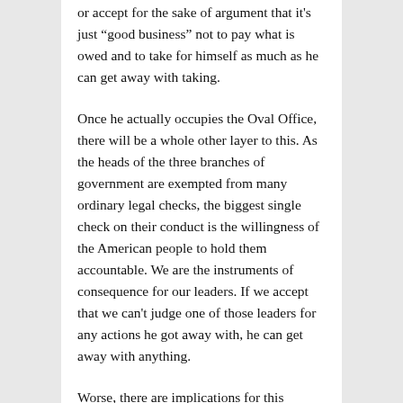or accept for the sake of argument that it's just “good business” not to pay what is owed and to take for himself as much as he can get away with taking.
Once he actually occupies the Oval Office, there will be a whole other layer to this. As the heads of the three branches of government are exempted from many ordinary legal checks, the biggest single check on their conduct is the willingness of the American people to hold them accountable. We are the instruments of consequence for our leaders. If we accept that we can’t judge one of those leaders for any actions he got away with, he can get away with anything.
Worse, there are implications for this mindset that go beyond Trump’s financial well-being and the havoc he might wreak “being smart” about his